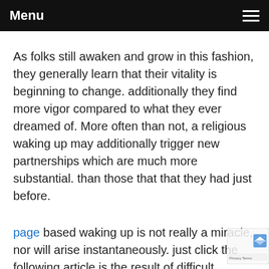Menu
As folks still awaken and grow in this fashion, they generally learn that their vitality is beginning to change. additionally they find more vigor compared to what they ever dreamed of. More often than not, a religious waking up may additionally trigger new partnerships which are much more substantial. than those that that they had just before.
page based waking up is not really a miracle, nor will arise instantaneously. just click the following article is the result of difficult operate and perseverance. It may